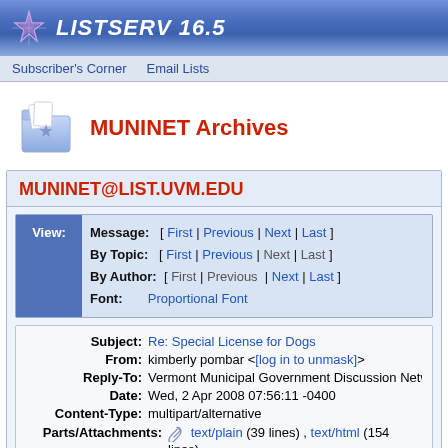LISTSERV 16.5
Subscriber's Corner   Email Lists
MUNINET Archives
MUNINET@LIST.UVM.EDU
View: Message: [ First | Previous | Next | Last ] By Topic: [ First | Previous | Next | Last ] By Author: [ First | Previous | Next | Last ] Font: Proportional Font
| Field | Value |
| --- | --- |
| Subject: | Re: Special License for Dogs |
| From: | kimberly pombar <[log in to unmask]> |
| Reply-To: | Vermont Municipal Government Discussion Network <[lo... |
| Date: | Wed, 2 Apr 2008 07:56:11 -0400 |
| Content-Type: | multipart/alternative |
| Parts/Attachments: | text/plain (39 lines) , text/html (154 lines) |